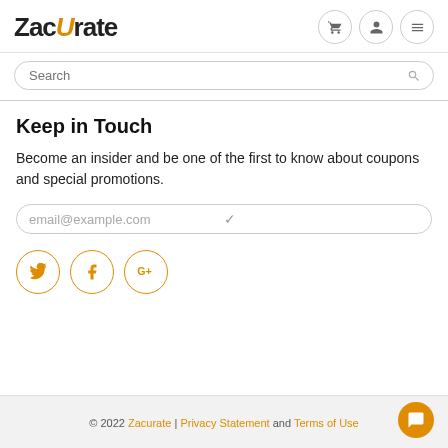ZacUrate — navigation header with logo and icons
Search
Keep in Touch
Become an insider and be one of the first to know about coupons and special promotions.
email@example.com
[Figure (other): Social media icon buttons: Twitter, Facebook, Google+]
© 2022 Zacurate | Privacy Statement and Terms of Use